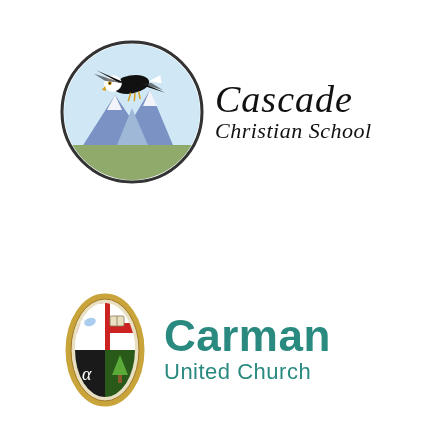[Figure (logo): Cascade Christian School logo: circular emblem with a bald eagle in flight over mountain peaks with blue sky, next to italic text reading 'Cascade Christian School']
[Figure (logo): Carman United Church logo: shield/vesica-shaped emblem with cross, red and white quarters, book, tree, and alpha symbol in gold border, next to teal text reading 'Carman United Church']